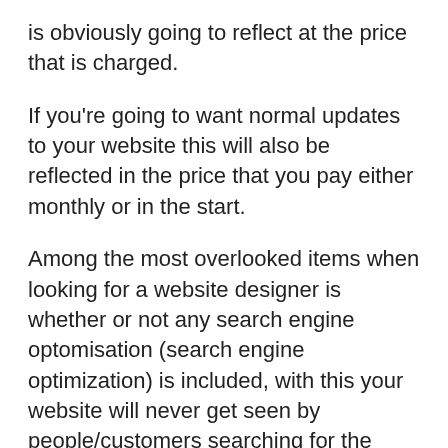is obviously going to reflect at the price that is charged.
If you're going to want normal updates to your website this will also be reflected in the price that you pay either monthly or in the start.
Among the most overlooked items when looking for a website designer is whether or not any search engine optomisation (search engine optimization) is included, with this your website will never get seen by people/customers searching for the keywords relating to your website/business, then this is possibly the most significant element when deciding who for to design your website.
Designing websites today is relatively easy compared to 5 or 10 years ago, you have content managed websites such as WordPress these may